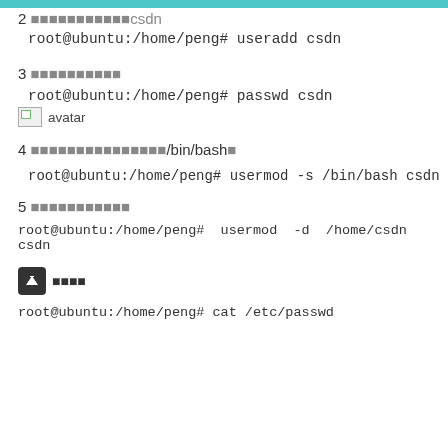2 （截图已被截断）csdn
root@ubuntu:/home/peng# useradd csdn
3 设置用户密码
root@ubuntu:/home/peng# passwd csdn
[Figure (photo): avatar image placeholder icon]
4 修改用户的登录shell为/bin/bash
root@ubuntu:/home/peng# usermod -s /bin/bash csdn
5 修改用户目录
root@ubuntu:/home/peng#  usermod  -d  /home/csdn csdn
↑ 返回顶部
root@ubuntu:/home/peng# cat /etc/passwd